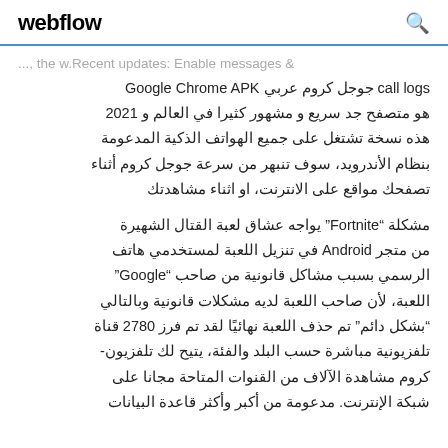webflow
..., The w.Recent updates: Enable messages & call logs جوجل كروم عربي Google Chrome APK هو متصفح جد سريع و مشهور كثيرا في العالم و 2021 هذه نسخة تشتغل على جميع الهواتف الذكية المدعومة بنظام الأندرويد، سوف تنبهر من سرعة جوجل كروم أثناء تصفحك مواقع على الانترنت، او اثناء مشاهدتك
مشكلة "Fortnite" يواجه عشاق لعبة القتال الشهيرة من متجر Android في تنزيل اللعبة لمستخدمي هاتف الرسمي بسبب مشاكل قانونية من صاحب "Google" اللعبة، لأن صاحب اللعبة لديه مشكلات قانونية وبالتالي "بشكل دائم" تم حذف اللعبة نهائيًا لقد تم فرز 2780 قناة تلفزيونية مباشرة حسب البلد والفئة، يتيح لك تلفزيون-كروم مشاهدة الآلاف من القنوات المتاحة مجانا على شبكة الإنترنت. مدعومة من أكبر وأكثر قاعدة البيانات